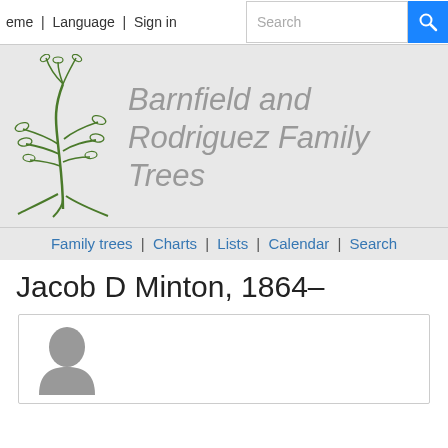eme | Language | Sign in  Search
[Figure (logo): Green line-art family tree illustration]
Barnfield and Rodriguez Family Trees
Family trees | Charts | Lists | Calendar | Search
Jacob D Minton, 1864–
[Figure (illustration): Gray silhouette of a person's head and shoulders profile]